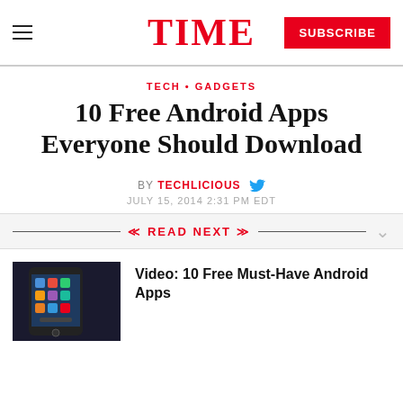TIME — SUBSCRIBE
TECH • GADGETS
10 Free Android Apps Everyone Should Download
BY TECHLICIOUS
JULY 15, 2014 2:31 PM EDT
READ NEXT
[Figure (photo): Smartphone showing Android home screen with apps, on dark background]
Video: 10 Free Must-Have Android Apps